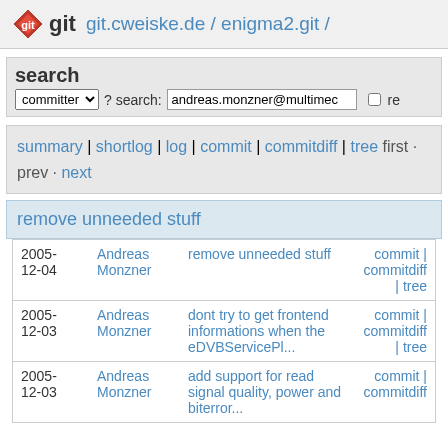git  git.cweiske.de / enigma2.git /
search
committer ▾  ? search: andreas.monzner@multimec  □ re
summary | shortlog | log | commit | commitdiff | tree first · prev · next
remove unneeded stuff
| Date | Author | Message | Links |
| --- | --- | --- | --- |
| 2005-
12-04 | Andreas
Monzner | remove unneeded stuff | commit |
commitdiff
| tree |
| 2005-
12-03 | Andreas
Monzner | dont try to get frontend informations when the eDVBServicePl... | commit |
commitdiff
| tree |
| 2005-
12-03 | Andreas
Monzner | add support for read signal quality, power and biterror... | commit |
commitdiff |